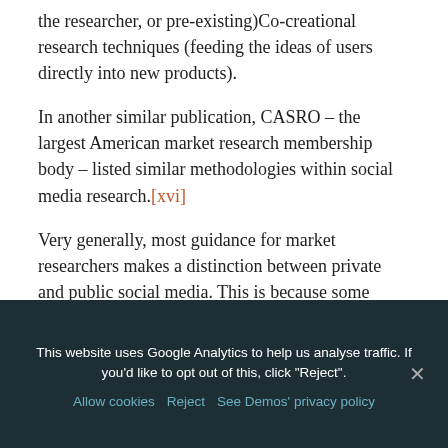the researcher, or pre-existing)Co-creational research techniques (feeding the ideas of users directly into new products).
In another similar publication, CASRO – the largest American market research membership body – listed similar methodologies within social media research.[xvi]
Very generally, most guidance for market researchers makes a distinction between private and public social media. This is because some areas online (sometimes known as 'walled gardens') may give the user an expectation of some kind of privacy. Private social media may
This website uses Google Analytics to help us analyse traffic. If you'd like to opt out of this, click "Reject". Allow cookies Reject See Demos' privacy policy